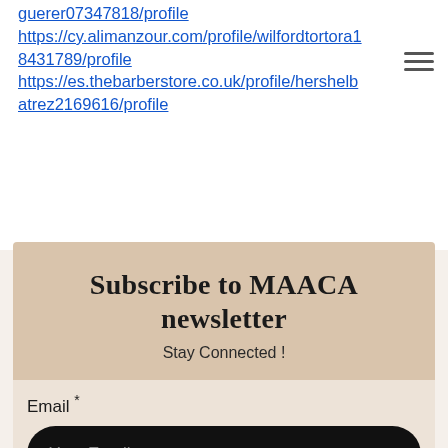guerer07347818/profile
https://cy.alimanzour.com/profile/wilfordtortora18431789/profile
https://es.thebarberstore.co.uk/profile/hershelbatrez2169616/profile
[Figure (other): Hamburger menu icon (three horizontal lines)]
Subscribe to MAACA newsletter
Stay Connected !
Email *
Your Email
SUBSCRIBE